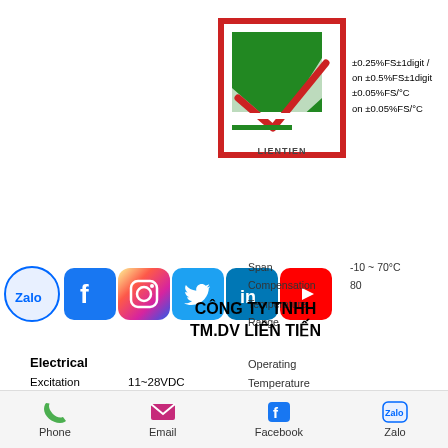[Figure (logo): LIENTIEN company logo - green and red square logo with white stripes]
±0.25%FS±1digit / on ±0.5%FS±1digit ±0.05%FS/°C on ±0.05%FS/°C
[Figure (infographic): Row of social media icons: Zalo, Facebook, Instagram, Twitter, LinkedIn, YouTube]
Span -10 ~ 70°C
Compensation 80
Temperature
Range
Operating
Temperature
Range
CÔNG TY TNHH TM.DV LIÊN TIẾN
Electrical
Excitation    11~28VDC
Output          0~5VDC, 1~5VDC,
Electrical       0~10VDC,
Connection    4~20mA(2wire)
Phone    Email    Facebook    Zalo